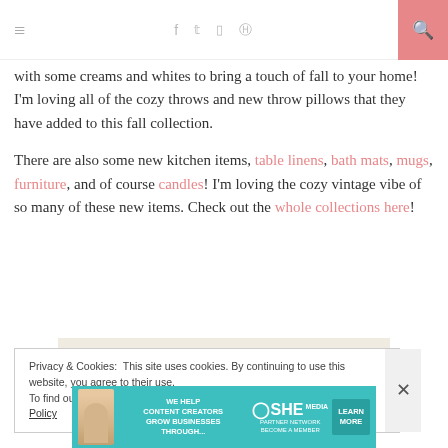≡  f  𝕥  ▣  ⊕  🔍
with some creams and whites to bring a touch of fall to your home! I'm loving all of the cozy throws and new throw pillows that they have added to this fall collection.

There are also some new kitchen items, table linens, bath mats, mugs, furniture, and of course candles! I'm loving the cozy vintage vibe of so many of these new items. Check out the whole collections here!
[Figure (photo): Photo of a rustic stone wall with white linen/fabric below, likely a home decor vignette.]
Privacy & Cookies: This site uses cookies. By continuing to use this website, you agree to their use.
To find out more, including how to control cookies, see here: Cookie Policy
[Figure (infographic): SHE Partner Network advertisement banner: 'We help content creators grow businesses through...' with a Learn More button.]